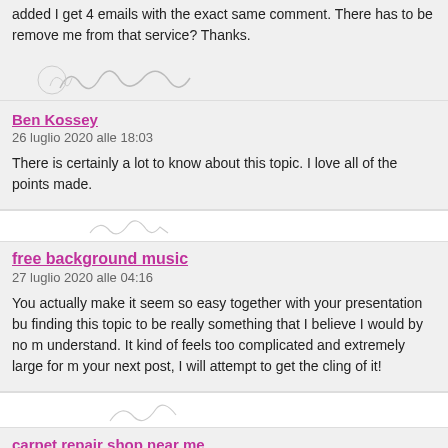added I get 4 emails with the exact same comment. There has to be remove me from that service? Thanks.
[Figure (illustration): Handwritten signature/avatar scribble for commenter Ben Kossey]
Ben Kossey
26 luglio 2020 alle 18:03
There is certainly a lot to know about this topic. I love all of the points made.
[Figure (illustration): Handwritten signature/avatar scribble for commenter free background music]
free background music
27 luglio 2020 alle 04:16
You actually make it seem so easy together with your presentation but finding this topic to be really something that I believe I would by no m understand. It kind of feels too complicated and extremely large for m your next post, I will attempt to get the cling of it!
[Figure (illustration): Handwritten signature/avatar scribble for commenter carpet repair shop near me]
carpet repair shop near me
27 luglio 2020 alle 04:28
I'm impressed, I must say. Really rarely do I encounter a blog that's e